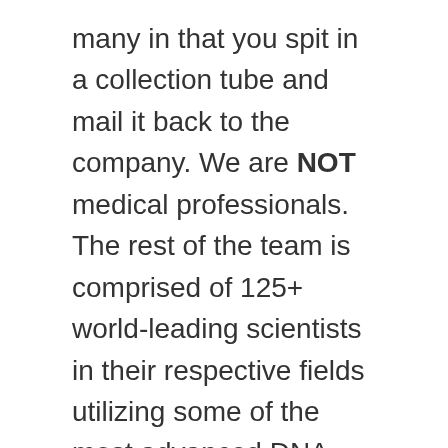many in that you spit in a collection tube and mail it back to the company. We are NOT medical professionals. The rest of the team is comprised of 125+ world-leading scientists in their respective fields utilizing some of the most advanced DNA sequencing technologies and algorithms known to man. By sequencing your entire genome, you are preparing for the many genetic findings to come. The official website implements SSL technology in order to protect all user interactions and your data is processed and stored on highly controlled servers with limited access. Bottom line, Veritas Genetics is an impressive company with an excellent team and state-of-the-art technology and it definitely